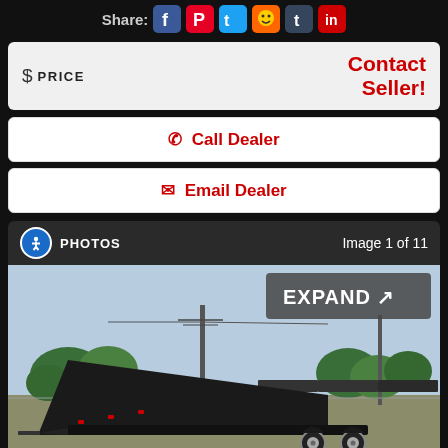Share:
$ PRICE
Contact Seller!
Call Dealer
Email Dealer
PHOTOS  Image 1 of 11
[Figure (photo): Black tilt-bed trailer in an outdoor lot with trees and power lines in the background. Multiple similar trailers visible in background.]
EXPAND